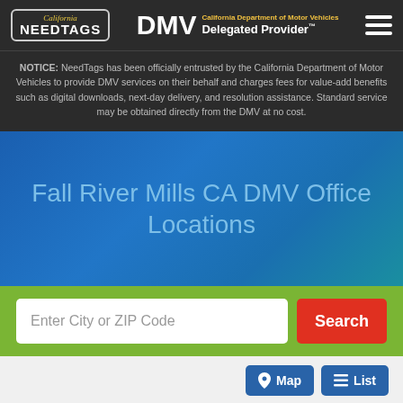California NeedTags | DMV California Department of Motor Vehicles Delegated Provider
NOTICE: NeedTags has been officially entrusted by the California Department of Motor Vehicles to provide DMV services on their behalf and charges fees for value-add benefits such as digital downloads, next-day delivery, and resolution assistance. Standard service may be obtained directly from the DMV at no cost.
Fall River Mills CA DMV Office Locations
Enter City or ZIP Code
Search
Map  List